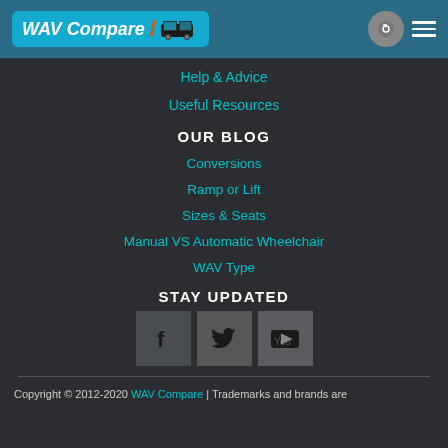WAV Compare
Help & Advice
Useful Resources
OUR BLOG
Conversions
Ramp or Lift
Sizes & Seats
Manual VS Automatic Wheelchair
WAV Type
STAY UPDATED
[Figure (infographic): Three social media icon buttons: Facebook (f), Twitter (bird), YouTube (play button)]
Copyright © 2012-2020 WAV Compare | Trademarks and brands are